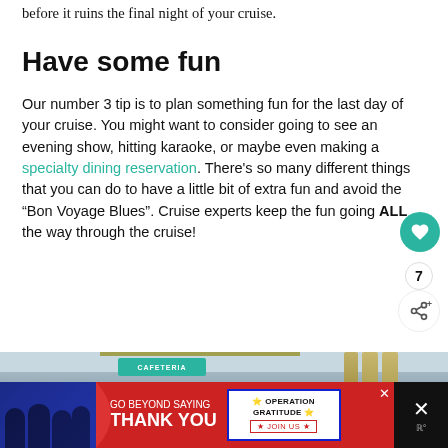before it ruins the final night of your cruise.
Have some fun
Our number 3 tip is to plan something fun for the last day of your cruise. You might want to consider going to see an evening show, hitting karaoke, or maybe even making a specialty dining reservation. There's so many different things that you can do to have a little bit of extra fun and avoid the “Bon Voyage Blues”. Cruise experts keep the fun going ALL the way through the cruise!
[Figure (photo): Interior photo of a cruise ship dining area with teal signage, pendant lights, and buffet area visible.]
[Figure (infographic): Advertisement banner reading GO BEYOND SAYING THANK YOU with Operation Gratitude logo and JOIN US call to action.]